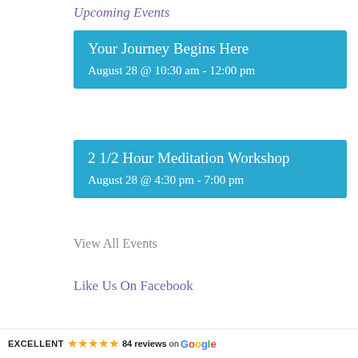Upcoming Events
Your Journey Begins Here
August 28 @ 10:30 am - 12:00 pm
2 1/2 Hour Meditation Workshop
August 28 @ 4:30 pm - 7:00 pm
View All Events
Like Us On Facebook
EXCELLENT ★★★★★ 84 reviews on Google